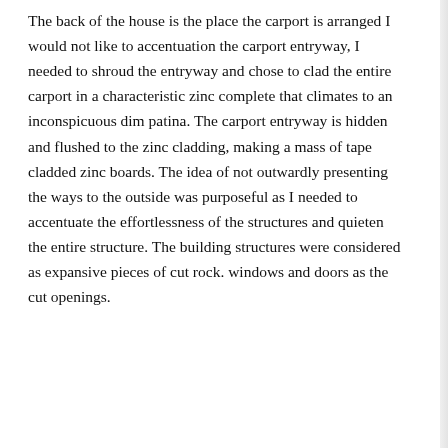The back of the house is the place the carport is arranged I would not like to accentuation the carport entryway, I needed to shroud the entryway and chose to clad the entire carport in a characteristic zinc complete that climates to an inconspicuous dim patina. The carport entryway is hidden and flushed to the zinc cladding, making a mass of tape cladded zinc boards. The idea of not outwardly presenting the ways to the outside was purposeful as I needed to accentuate the effortlessness of the structures and quieten the entire structure. The building structures were considered as expansive pieces of cut rock. windows and doors as the cut openings.